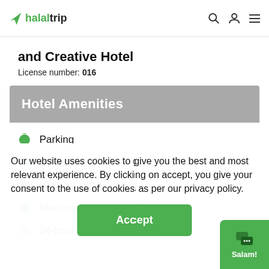halaltrip
and Creative Hotel
License number: 016
Hotel Amenities
Parking
Restaurant
Room service
Meeting/banquet facilities
24-hour front desk
Our website uses cookies to give you the best and most relevant experience. By clicking on accept, you give your consent to the use of cookies as per our privacy policy.